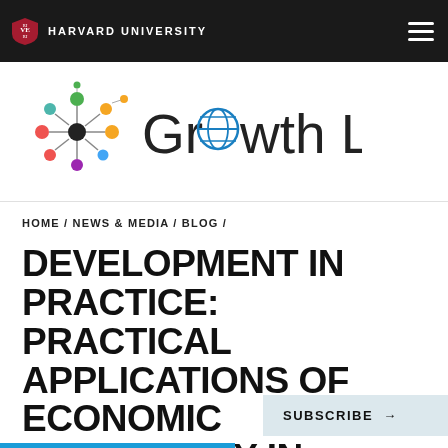HARVARD UNIVERSITY
[Figure (logo): Growth Lab logo with colorful network nodes and globe icon]
HOME / NEWS & MEDIA / BLOG /
DEVELOPMENT IN PRACTICE: PRACTICAL APPLICATIONS OF ECONOMIC COMPLEXITY IN ETHIOPIA
SUBSCRIBE →